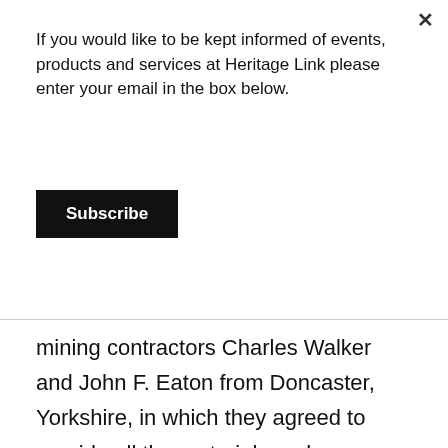If you would like to be kept informed of events, products and services at Heritage Link please enter your email in the box below.
Subscribe
mining contractors Charles Walker and John F. Eaton from Doncaster, Yorkshire, in which they agreed to provide all the materials and equipment necessary to construct and complete the job. 1
Operations at the new site called Sherwood Colliery started on Whit Tuesday and the manager Mr Fryer turned the first sod. There